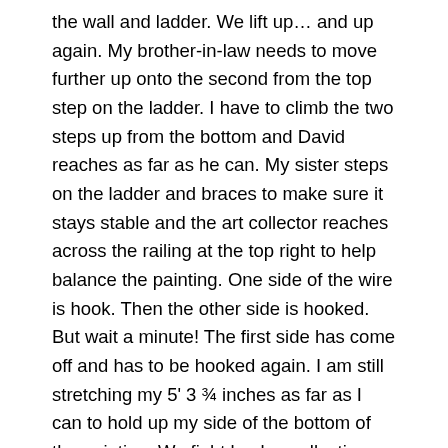the wall and ladder. We lift up… and up again. My brother-in-law needs to move further up onto the second from the top step on the ladder. I have to climb the two steps up from the bottom and David reaches as far as he can. My sister steps on the ladder and braces to make sure it stays stable and the art collector reaches across the railing at the top right to help balance the painting. One side of the wire is hook. Then the other side is hooked. But wait a minute! The first side has come off and has to be hooked again. I am still stretching my 5' 3 ¾ inches as far as I can to hold up my side of the bottom of the painting. We fight back a collective giggle. We instinctively know, this would not end well if we lose focus. Finally! It is hung!
The level is passed up the ladder and placed on top of the painting. All but one of us stands back at the top of